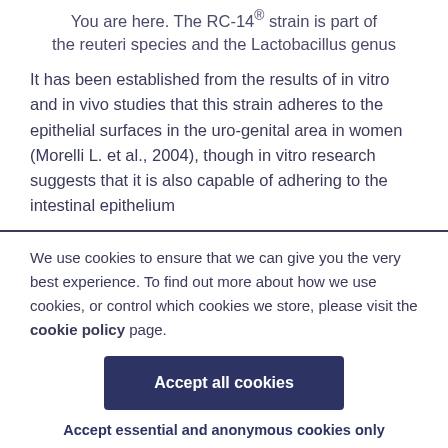You are here. The RC-14® strain is part of the reuteri species and the Lactobacillus genus
It has been established from the results of in vitro and in vivo studies that this strain adheres to the epithelial surfaces in the uro-genital area in women (Morelli L. et al., 2004), though in vitro research suggests that it is also capable of adhering to the intestinal epithelium
We use cookies to ensure that we can give you the very best experience. To find out more about how we use cookies, or control which cookies we store, please visit the cookie policy page.
Accept all cookies
Accept essential and anonymous cookies only